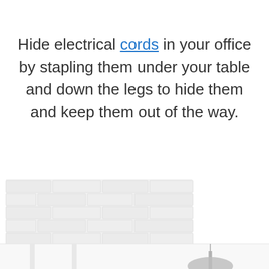Hide electrical cords in your office by stapling them under your table and down the legs to hide them and keep them out of the way.
[Figure (photo): A white painted brick wall visible in the upper portion, and below a partial view of what appears to be a lamp and furniture in a room setting.]